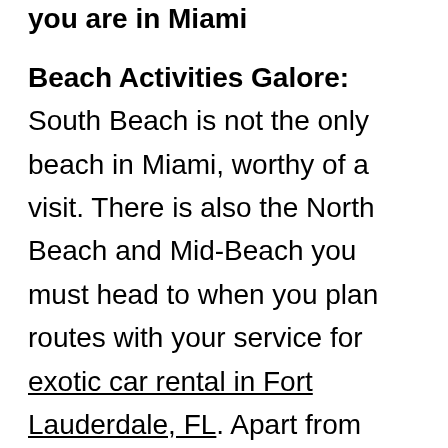you are in Miami
Beach Activities Galore: South Beach is not the only beach in Miami, worthy of a visit. There is also the North Beach and Mid-Beach you must head to when you plan routes with your service for exotic car rental in Fort Lauderdale, FL. Apart from soaking in the tropical sun as you relax on these white silvery beaches; you can also enjoy thrilling activities like jet-skiing, kayaking, and snorkeling. The